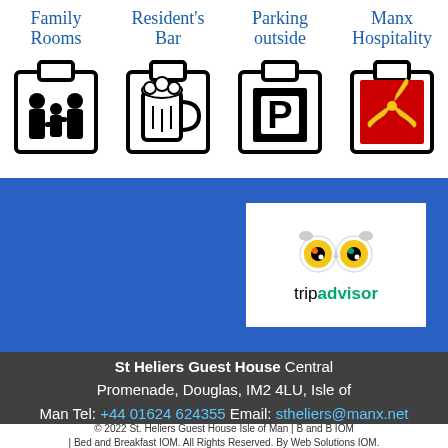[Figure (infographic): Four amenity icons in a row: Family Rooms (family silhouette), Resident's Bar (beer mug), Parking outside (P sign), Manx Hospitality (Isle of Man triskelion). Each icon has a clipboard-style border and a cursive blue label above.]
[Figure (logo): TripAdvisor logo with owl eyes graphic and 'tripadvisor' text in black and green on white background]
St Heliers Guest House  Central Promenade,  Douglas,  IM2 4LU,  Isle of Man  Tel: +44 01624 624355  Email: stheliers@manx.net
© 2022 St. Heliers Guest House Isle of Man | B and B IOM | Bed and Breakfast IOM. All Rights Reserved. By Web Solutions IOM.